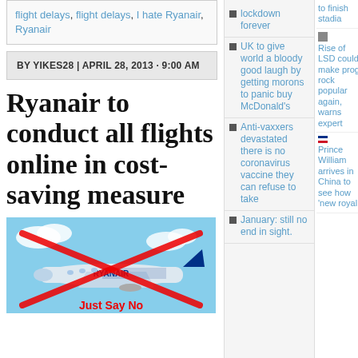flight delays, flight delays, I hate Ryanair, Ryanair
BY YIKES28 | APRIL 28, 2013 · 9:00 AM
Ryanair to conduct all flights online in cost-saving measure
[Figure (photo): Ryanair airplane with a red X crossed over it and the text 'Just Say No' in red below]
lockdown forever
UK to give world a bloody good laugh by getting morons to panic buy McDonald's
Anti-vaxxers devastated there is no coronavirus vaccine they can refuse to take
January: still no end in sight.
to finish stadia
Rise of LSD could make prog rock popular again, warns expert
Prince William arrives in China to see how 'new royal